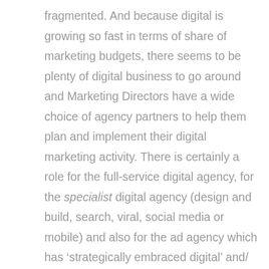fragmented. And because digital is growing so fast in terms of share of marketing budgets, there seems to be plenty of digital business to go around and Marketing Directors have a wide choice of agency partners to help them plan and implement their digital marketing activity. There is certainly a role for the full-service digital agency, for the specialist digital agency (design and build, search, viral, social media or mobile) and also for the ad agency which has 'strategically embraced digital' and/ or 'placed digital at the heart of its culture' (choose your preferred form of words).
Most digital agencies work on a project basis which